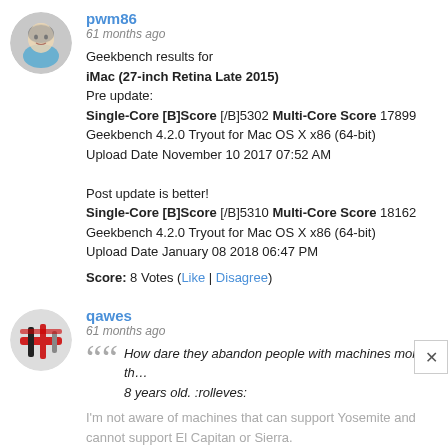pwm86
61 months ago
Geekbench results for
iMac (27-inch Retina Late 2015)
Pre update:
Single-Core [B]Score [/B]5302 Multi-Core Score 17899
Geekbench 4.2.0 Tryout for Mac OS X x86 (64-bit)
Upload Date November 10 2017 07:52 AM

Post update is better!
Single-Core [B]Score [/B]5310 Multi-Core Score 18162
Geekbench 4.2.0 Tryout for Mac OS X x86 (64-bit)
Upload Date January 08 2018 06:47 PM
Score: 8 Votes (Like | Disagree)
qawes
61 months ago
How dare they abandon people with machines more than 8 years old. :rolleves:
I'm not aware of machines that can support Yosemite and cannot support El Capitan or Sierra.